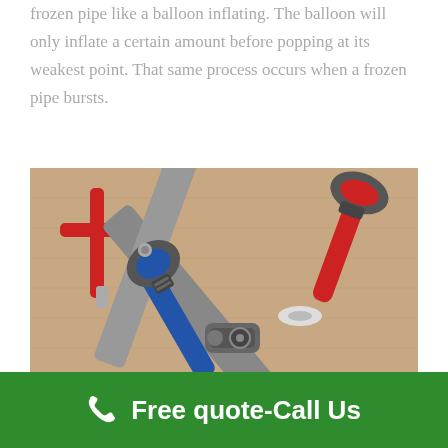frozen pipe like a balloon inflating. The balloon will only inflate a certain amount before popping at its weakest point. That same process occurs when a frozen pipe bursts.
[Figure (photo): Plumbing tools including a blue pipe wrench, a red pipe wrench, a small red T-shaped fitting tool, pipes, and a small pipe cutter arranged on a cardboard surface.]
Free quote-Call Us